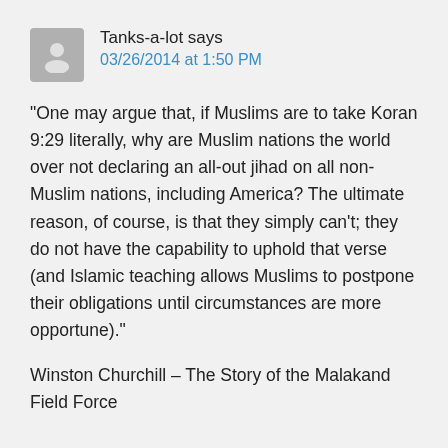Tanks-a-lot says
03/26/2014 at 1:50 PM
"One may argue that, if Muslims are to take Koran 9:29 literally, why are Muslim nations the world over not declaring an all-out jihad on all non-Muslim nations, including America? The ultimate reason, of course, is that they simply can't; they do not have the capability to uphold that verse (and Islamic teaching allows Muslims to postpone their obligations until circumstances are more opportune)."
Winston Churchill – The Story of the Malakand Field Force